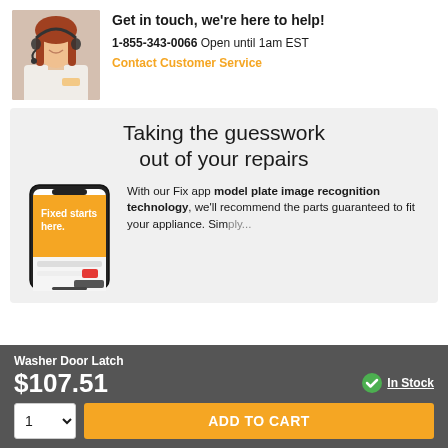[Figure (photo): Customer service agent — smiling woman with headset wearing white top]
Get in touch, we're here to help!
1-855-343-0066 Open until 1am EST
Contact Customer Service
Taking the guesswork out of your repairs
[Figure (photo): Smartphone showing Fix app with orange screen reading 'Fixed starts here.']
With our Fix app model plate image recognition technology, we'll recommend the parts guaranteed to fit your appliance. Simply...
Washer Door Latch
$107.51
In Stock
ADD TO CART